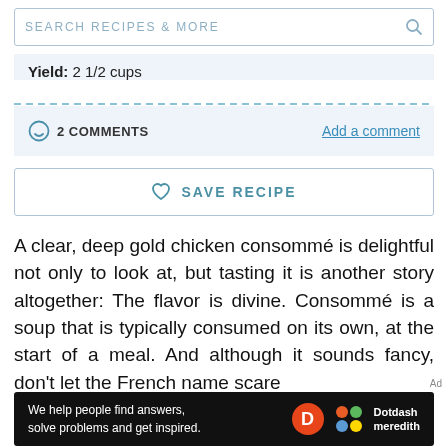SEARCH RECIPES & MORE
Yield: 2 1/2 cups
2 COMMENTS   Add a comment
♡ SAVE RECIPE
A clear, deep gold chicken consommé is delightful not only to look at, but tasting it is another story altogether: The flavor is divine. Consommé is a soup that is typically consumed on its own, at the start of a meal. And although it sounds fancy, don't let the French name scare
[Figure (other): Dotdash Meredith advertisement banner: 'We help people find answers, solve problems and get inspired.' with Dotdash Meredith logo]